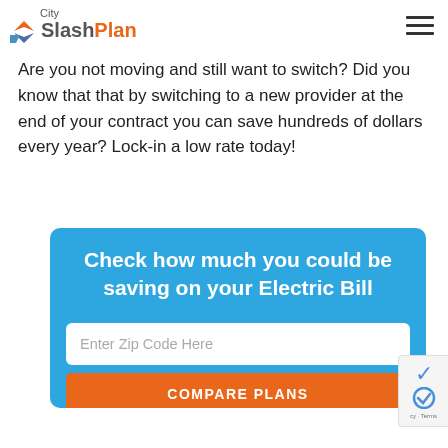City SlashPlan
Are you not moving and still want to switch? Did you know that that by switching to a new provider at the end of your contract you can save hundreds of dollars every year? Lock-in a low rate today!
Check how much you could be saving on your Electric Bill
Enter Zip Code Here
COMPARE PLANS